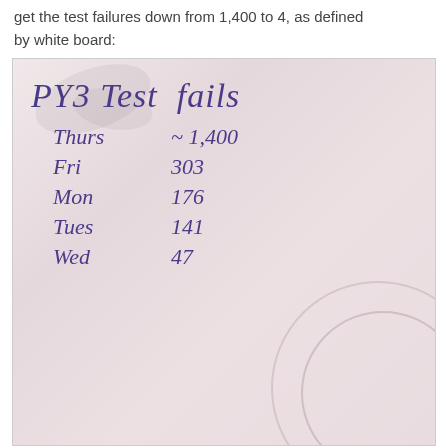get the test failures down from 1,400 to 4, as defined by white board:
[Figure (photo): Photo of a whiteboard showing 'PY3 Test fails' with daily test failure counts: Thurs ~1,400, Fri 303, Mon 176, Tues 141, Wed 47]